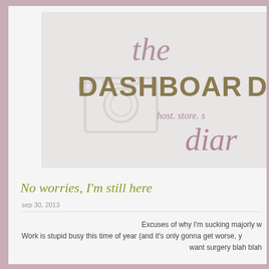[Figure (logo): The Dashboard Diary blog logo with decorative patterned lettering on a light grey background. Text reads 'the DASHBOARD diary' with 'host. store. s...' tagline.]
No worries, I'm still here
sep 30, 2013
Excuses of why I'm sucking majorly w...
Work is stupid busy this time of year (and it's only gonna get worse, y...
want surgery blah blah